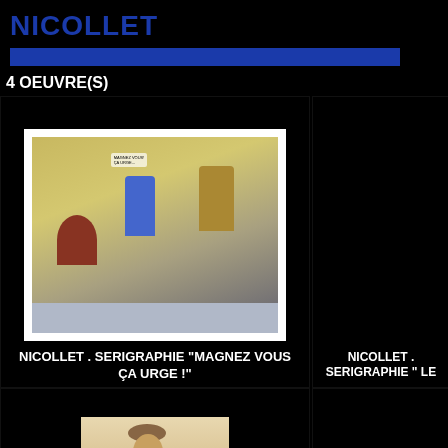NICOLLET
4 OEUVRE(S)
[Figure (photo): Artwork image: serigraphie showing theatrical/comic scene with figures in blue costume kneeling, red figure on left, golden figure on right, with speech bubble text 'MAGNEZ VOUS CA URGE']
NICOLLET . SERIGRAPHIE "MAGNEZ VOUS ÇA URGE !"
[Figure (illustration): Dark/black panel showing partial label: NICOLLET . SERIGRAPHIE " LE]
NICOLLET . SERIGRAPHIE " LE
[Figure (illustration): Sketch/illustration of a seated figure wearing a hat, brown tones]
[Figure (photo): Dark/black panel, partially visible artwork]